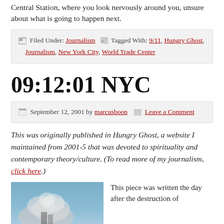Central Station, where you look nervously around you, unsure about what is going to happen next.
Filed Under: Journalism  Tagged With: 9/11, Hungry Ghost, Journalism, New York City, World Trade Center
09:12:01 NYC
September 12, 2001 by marcusboon  Leave a Comment
This was originally published in Hungry Ghost, a website I maintained from 2001-5 that was devoted to spirituality and contemporary theory/culture. (To read more of my journalism, click here.)
[Figure (photo): Blue-sky photograph showing smoke or cloud, likely related to 9/11 World Trade Center destruction]
This piece was written the day after the destruction of